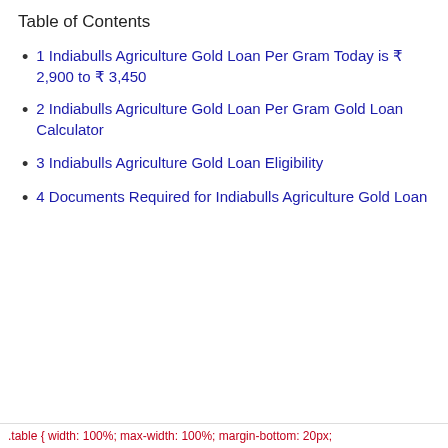Table of Contents
1 Indiabulls Agriculture Gold Loan Per Gram Today is ₹ 2,900 to ₹ 3,450
2 Indiabulls Agriculture Gold Loan Per Gram Gold Loan Calculator
3 Indiabulls Agriculture Gold Loan Eligibility
4 Documents Required for Indiabulls Agriculture Gold Loan
[Figure (infographic): Dark blue promotional box with heading 'GOLD LOAN @ 0.49%*APPLY NOW', a mobile number input field with red border, and a red APPLY NOW button]
.table { width: 100%; max-width: 100%; margin-bottom: 20px;